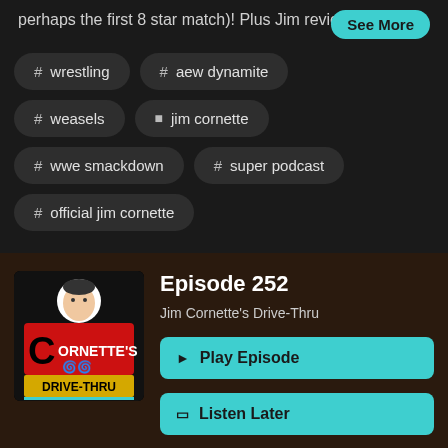perhaps the first 8 star match)! Plus Jim reviews AEW
See More
# wrestling
# aew dynamite
# weasels
person jim cornette
# wwe smackdown
# super podcast
# official jim cornette
[Figure (logo): Cornette's Drive-Thru podcast logo with red background and black border]
Episode 252
Jim Cornette's Drive-Thru
Play Episode
Listen Later